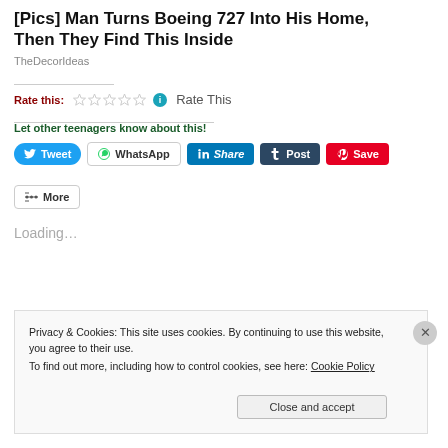[Pics] Man Turns Boeing 727 Into His Home, Then They Find This Inside
TheDecorIdeas
Rate this: ☆☆☆☆☆ ℹ Rate This
Let other teenagers know about this!
[Figure (screenshot): Social sharing buttons: Tweet (Twitter, blue pill), WhatsApp (white outlined), Share (LinkedIn, blue), Post (Tumblr, dark), Save (Pinterest, red), More (white outlined)]
Loading...
Privacy & Cookies: This site uses cookies. By continuing to use this website, you agree to their use. To find out more, including how to control cookies, see here: Cookie Policy
Close and accept